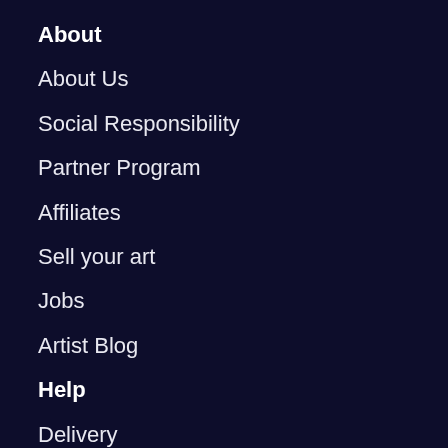About
About Us
Social Responsibility
Partner Program
Affiliates
Sell your art
Jobs
Artist Blog
Help
Delivery
Returns
Help Center